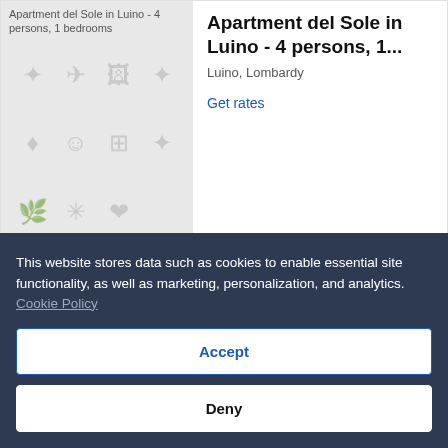[Figure (photo): Placeholder image for Apartment del Sole in Luino - 4 persons, 1 bedrooms with grey background and travel/accommodation icons]
Apartment del Sole in Luino - 4 persons, 1...
Luino, Lombardy
Get rates
Show details
This website stores data such as cookies to enable essential site functionality, as well as marketing, personalization, and analytics. Cookie Policy
Accept
Deny